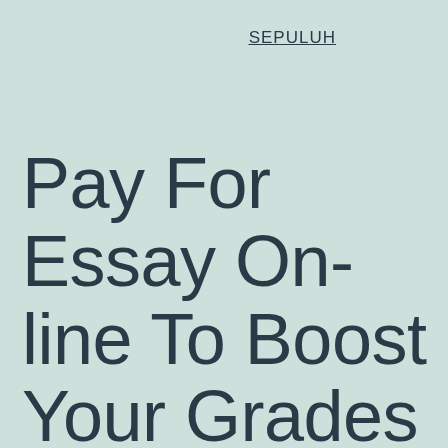SEPULUH
Pay For Essay On-line To Boost Your Grades